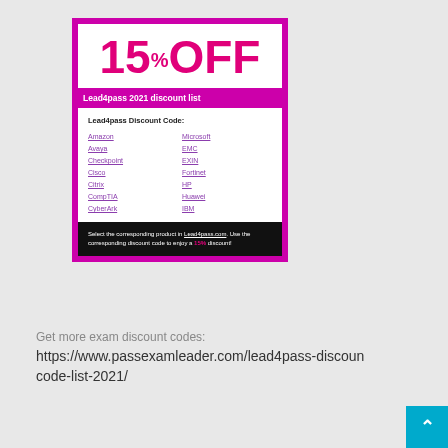[Figure (infographic): Coupon card showing 15% OFF discount for Lead4pass 2021, with a list of vendor discount codes including Amazon, Avaya, Checkpoint, Cisco, Citrix, CompTIA, CyberArk, Microsoft, EMC, EXIN, Fortinet, HP, Huawei, IBM, and instructions to use discount code at Lead4pass.com for 15% off.]
Get more exam discount codes:
https://www.passexamleader.com/lead4pass-discount-code-list-2021/